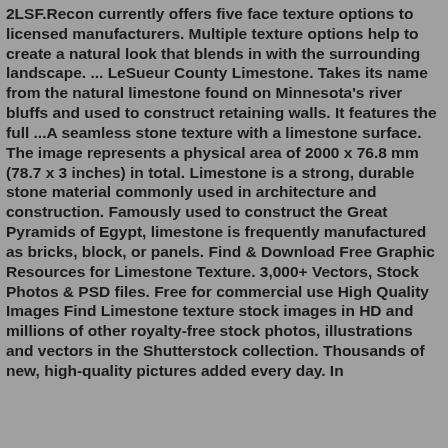2LSF.Recon currently offers five face texture options to licensed manufacturers. Multiple texture options help to create a natural look that blends in with the surrounding landscape. ... LeSueur County Limestone. Takes its name from the natural limestone found on Minnesota's river bluffs and used to construct retaining walls. It features the full ...A seamless stone texture with a limestone surface. The image represents a physical area of 2000 x 76.8 mm (78.7 x 3 inches) in total. Limestone is a strong, durable stone material commonly used in architecture and construction. Famously used to construct the Great Pyramids of Egypt, limestone is frequently manufactured as bricks, block, or panels. Find & Download Free Graphic Resources for Limestone Texture. 3,000+ Vectors, Stock Photos & PSD files. Free for commercial use High Quality Images Find Limestone texture stock images in HD and millions of other royalty-free stock photos, illustrations and vectors in the Shutterstock collection. Thousands of new, high-quality pictures added every day. In